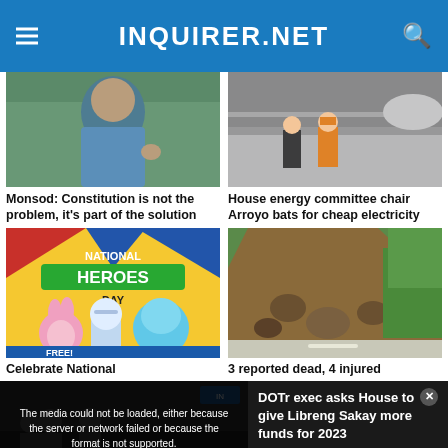INQUIRER.NET
[Figure (photo): Man in blue shirt gesturing with hands, green background]
Monsod: Constitution is not the problem, it's part of the solution
[Figure (photo): Construction workers in orange vests on highway overpass]
House energy committee chair Arroyo bats for cheap electricity
[Figure (photo): National Heroes Day promotional illustration with cartoon characters]
Celebrate National
[Figure (photo): Landslide covering road with rocks and debris, green vegetation]
3 reported dead, 4 injured
[Figure (screenshot): Video player with media error overlay and DOTr exec news on right]
The media could not be loaded, either because the server or network failed or because the format is not supported.
DOTr exec asks House to give Libreng Sakay more funds for 2023
DOTR EXEC ASKS HOUSE TO GIVE 'LIBRENG SAKAY' MORE FUNDS FOR 2023